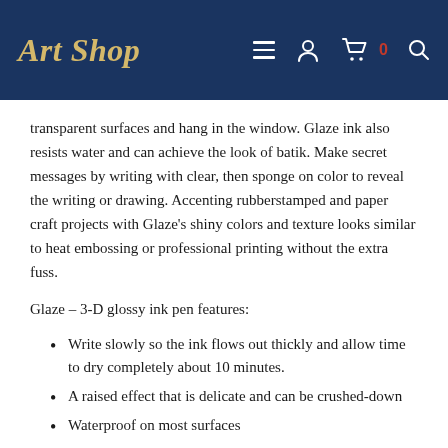Art Shop
transparent surfaces and hang in the window. Glaze ink also resists water and can achieve the look of batik. Make secret messages by writing with clear, then sponge on color to reveal the writing or drawing. Accenting rubberstamped and paper craft projects with Glaze's shiny colors and texture looks similar to heat embossing or professional printing without the extra fuss.
Glaze – 3-D glossy ink pen features:
Write slowly so the ink flows out thickly and allow time to dry completely about 10 minutes.
A raised effect that is delicate and can be crushed-down
Waterproof on most surfaces
Use on light backgrounds, and on plastic, glass,